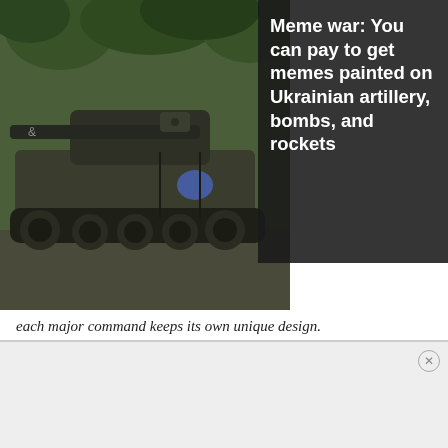[Figure (photo): Military tank (Ukrainian artillery) photographed outdoors among trees, shown from the side with gun barrel visible]
Meme war: You can pay to get memes painted on Ukrainian artillery, bombs, and rockets
each major command keeps its own unique design.
Search for
1. DISCOUNT SHOPPING
2. DOWNLOAD MOVIES ONLINE
3. JOB LISTINGS
4. WEATHER REPORT
[Figure (other): Bottom advertisement banner area]